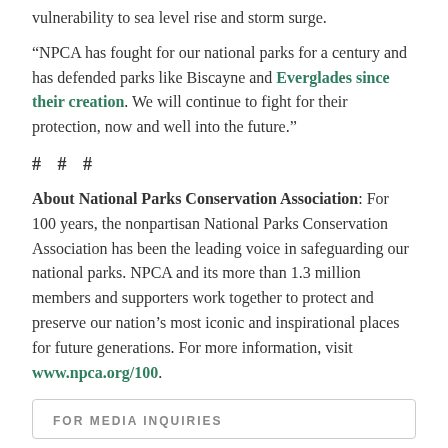vulnerability to sea level rise and storm surge.
“NPCA has fought for our national parks for a century and has defended parks like Biscayne and Everglades since their creation. We will continue to fight for their protection, now and well into the future.”
# # #
About National Parks Conservation Association: For 100 years, the nonpartisan National Parks Conservation Association has been the leading voice in safeguarding our national parks. NPCA and its more than 1.3 million members and supporters work together to protect and preserve our nation’s most iconic and inspirational places for future generations. For more information, visit www.npca.org/100.
FOR MEDIA INQUIRIES